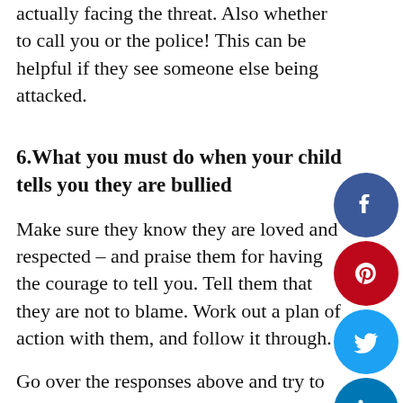actually facing the threat. Also whether to call you or the police! This can be helpful if they see someone else being attacked.
6.What you must do when your child tells you they are bullied
Make sure they know they are loved and respected – and praise them for having the courage to tell you. Tell them that they are not to blame. Work out a plan of action with them, and follow it through.
Go over the responses above and try to understand which would have been the best